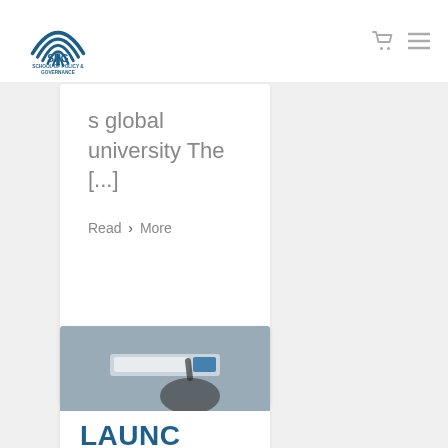SPG School of Policy & Governance
s global university The [...]
Read More >
[Figure (photo): A hand pressing a search bar button on a screen]
LAUNC